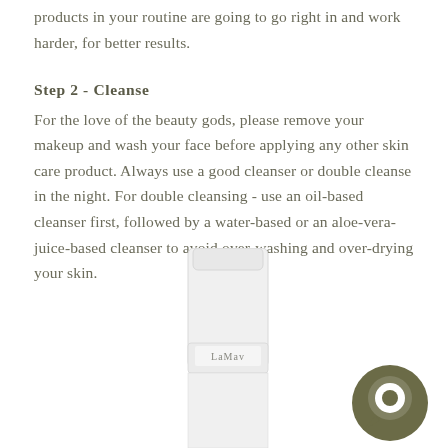products in your routine are going to go right in and work harder, for better results.
Step 2 - Cleanse
For the love of the beauty gods, please remove your makeup and wash your face before applying any other skin care product. Always use a good cleanser or double cleanse in the night. For double cleansing - use an oil-based cleanser first, followed by a water-based or an aloe-vera-juice-based cleanser to avoid over-washing and over-drying your skin.
[Figure (photo): A white cylindrical skincare product bottle from LaMav brand, partially visible at the bottom of the page, with a dark olive green circular chat/icon button in the bottom right corner.]